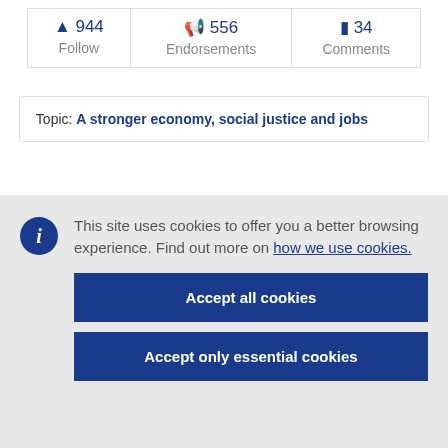| 944 Follow | 556 Endorsements | 34 Comments |
Topic: A stronger economy, social justice and jobs
This site uses cookies to offer you a better browsing experience. Find out more on how we use cookies.
Accept all cookies
Accept only essential cookies